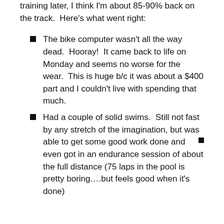training later, I think I'm about 85-90% back on the track. Here's what went right:
The bike computer wasn't all the way dead. Hooray! It came back to life on Monday and seems no worse for the wear. This is huge b/c it was about a $400 part and I couldn't live with spending that much.
Had a couple of solid swims. Still not fast by any stretch of the imagination, but was able to get some good work done and even got in an endurance session of about the full distance (75 laps in the pool is pretty boring….but feels good when it's done).